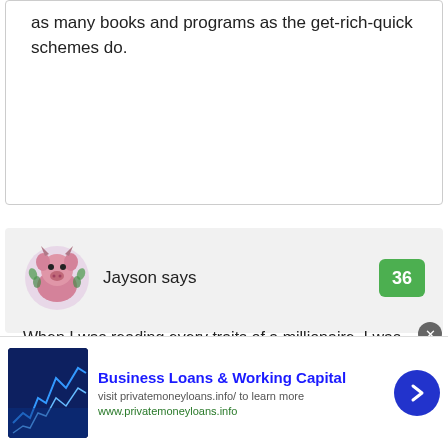as many books and programs as the get-rich-quick schemes do.
Jayson says
When I was reading every traits of a millionaire, I was talking to myself “this is me” or “I am like this”. That really helped me realize that I have more traits of a millionaire. I am getting excited that I
Business Loans & Working Capital
visit privatemoneyloans.info/ to learn more
www.privatemoneyloans.info